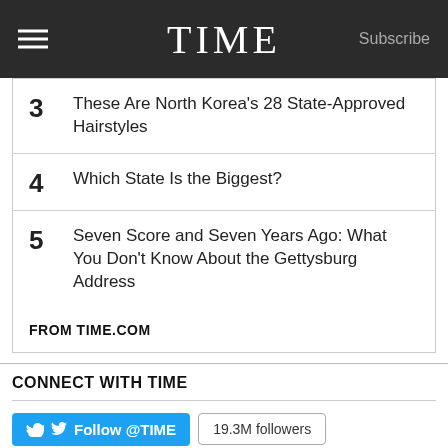TIME  Subscribe
3  These Are North Korea's 28 State-Approved Hairstyles
4  Which State Is the Biggest?
5  Seven Score and Seven Years Ago: What You Don't Know About the Gettysburg Address
FROM TIME.COM
CONNECT WITH TIME
Follow @TIME  19.3M followers
[Figure (logo): Tumblr and LinkedIn social media icons]